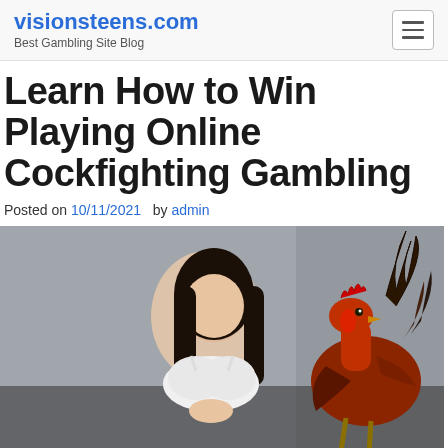visionsteens.com – Best Gambling Site Blog
Learn How to Win Playing Online Cockfighting Gambling
Posted on 10/11/2021  by admin
[Figure (photo): A young Asian woman in a white bra top holding something in her hands, with a rooster (red and brown feathers) in the foreground/right side, against a grey concrete background.]